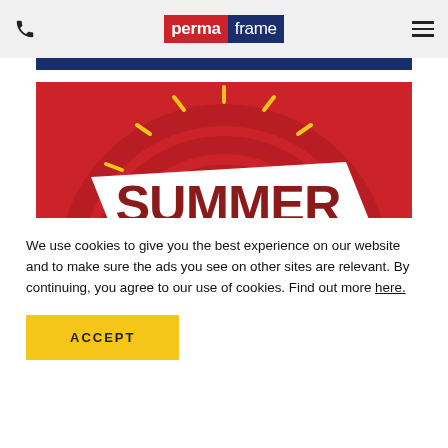permaframe
[Figure (illustration): Summer Savings promotional banner with red background, sunburst design, white diagonal ribbon with SUMMER in bold dark red, and 'savings' in yellow script below]
We use cookies to give you the best experience on our website and to make sure the ads you see on other sites are relevant. By continuing, you agree to our use of cookies. Find out more here.
ACCEPT